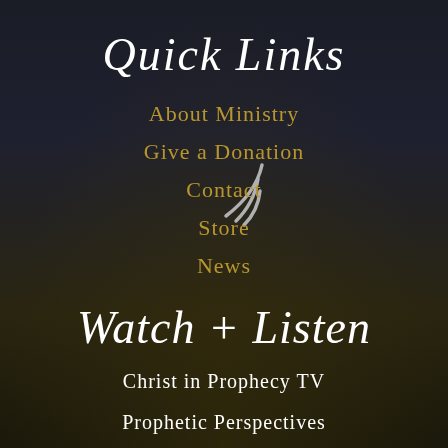Quick Links
About Ministry
Give a Donation
Contact
Store
News
Watch + Listen
Christ in Prophecy TV
Prophetic Perspectives
Lamb & Lion App